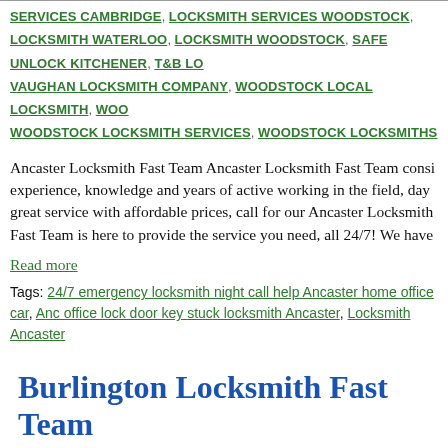SERVICES CAMBRIDGE, LOCKSMITH SERVICES WOODSTOCK, LOCKSMITH WATERLOO, LOCKSMITH WOODSTOCK, SAFE UNLOCK KITCHENER, T&B LOCKSMITH, VAUGHAN LOCKSMITH COMPANY, WOODSTOCK LOCAL LOCKSMITH, WOODSTOCK LOCKSMITH SERVICES, WOODSTOCK LOCKSMITHS
Ancaster Locksmith Fast Team Ancaster Locksmith Fast Team consists of experience, knowledge and years of active working in the field, day great service with affordable prices, call for our Ancaster Locksmith Fast Team is here to provide the service you need, all 24/7! We have
Read more
Tags: 24/7 emergency locksmith night call help Ancaster home office car, Ancaster office lock door key stuck locksmith Ancaster, Locksmith Ancaster
Burlington Locksmith Fast Team
BY: ALICE | DATE: | CATEGORIES: 24 HOUR LOCKSMITH VAUGHAN, 24 HOUR MOBILE LOCKSMITH VAUGHAN, AUTO LOCKSMITH KITCHENER, BRANTFORD LOCKSMITH, BRANTFORD RESIDENTIAL LOCK REPAIR, CAMBRIDGE WATERLOO, KITCHENER LOCAL AUTO LOCKSMITH, LOCAL AUTO LOCKSMITH, LOCKSMITH KITCHENER, LOCAL LOCKSMITH WOODSTOCK, LOCK CHANGE